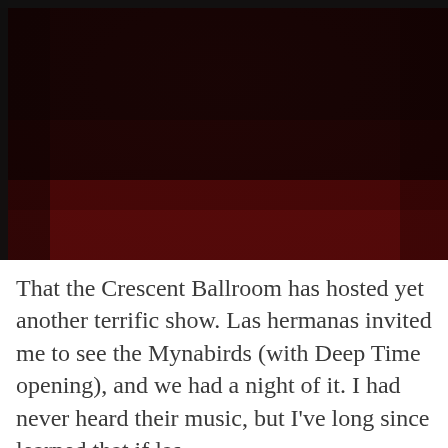[Figure (photo): Close-up photograph of a dark crimson/burgundy textured surface, possibly velvet or carpet, transitioning from very dark near-black at the top to a brighter deep red at the bottom.]
That the Crescent Ballroom has hosted yet another terrific show. Las hermanas invited me to see the Mynabirds (with Deep Time opening), and we had a night of it. I had never heard their music, but I've long since learned that if las